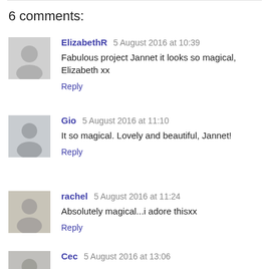6 comments:
ElizabethR 5 August 2016 at 10:39
Fabulous project Jannet it looks so magical, Elizabeth xx
Reply
Gio 5 August 2016 at 11:10
It so magical. Lovely and beautiful, Jannet!
Reply
rachel 5 August 2016 at 11:24
Absolutely magical...i adore thisxx
Reply
Cec 5 August 2016 at 13:06